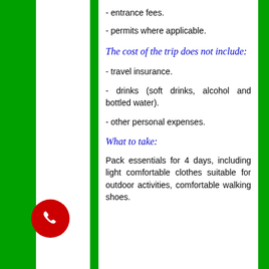- entrance fees.
- permits where applicable.
The cost of the trip does not include:
- travel insurance.
- drinks (soft drinks, alcohol and bottled water).
- other personal expenses.
What to take:
Pack essentials for 4 days, including light comfortable clothes suitable for outdoor activities, comfortable walking shoes.